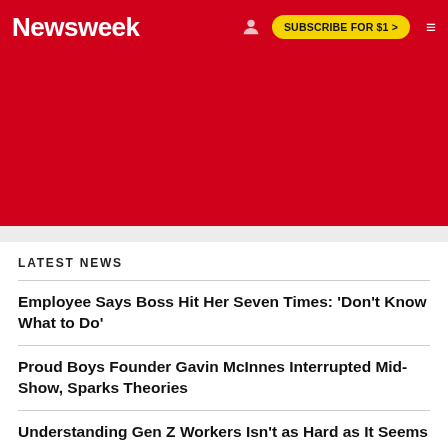Newsweek | SUBSCRIBE FOR $1 >
[Figure (other): Red background area (advertisement/banner placeholder)]
LATEST NEWS
Employee Says Boss Hit Her Seven Times: 'Don't Know What to Do'
Proud Boys Founder Gavin McInnes Interrupted Mid-Show, Sparks Theories
Understanding Gen Z Workers Isn't as Hard as It Seems